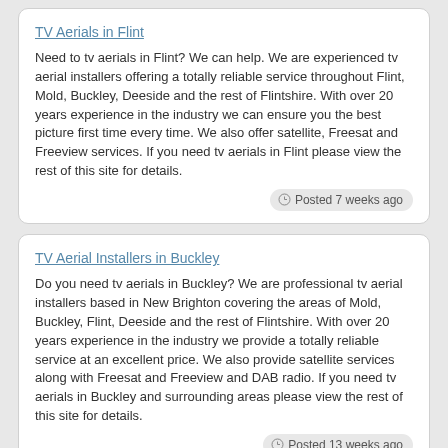TV Aerials in Flint
Need to tv aerials in Flint? We can help. We are experienced tv aerial installers offering a totally reliable service throughout Flint, Mold, Buckley, Deeside and the rest of Flintshire. With over 20 years experience in the industry we can ensure you the best picture first time every time. We also offer satellite, Freesat and Freeview services. If you need tv aerials in Flint please view the rest of this site for details.
Posted 7 weeks ago
TV Aerial Installers in Buckley
Do you need tv aerials in Buckley? We are professional tv aerial installers based in New Brighton covering the areas of Mold, Buckley, Flint, Deeside and the rest of Flintshire. With over 20 years experience in the industry we provide a totally reliable service at an excellent price. We also provide satellite services along with Freesat and Freeview and DAB radio. If you need tv aerials in Buckley and surrounding areas please view the rest of this site for details.
Posted 13 weeks ago
TV Aerial Installers in Buckley